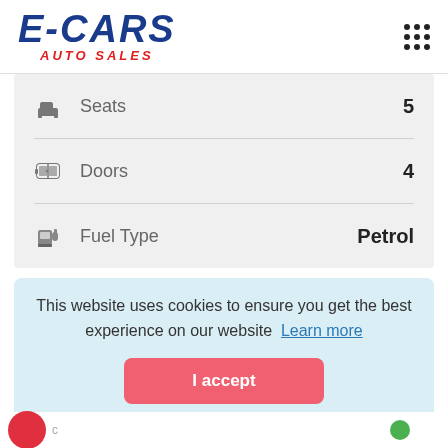[Figure (logo): E-CARS AUTO SALES logo with blue bold italic text and red AUTO SALES subtitle]
| Feature | Value |
| --- | --- |
| Seats | 5 |
| Doors | 4 |
| Fuel Type | Petrol |
This website uses cookies to ensure you get the best experience on our website  Learn more
I accept